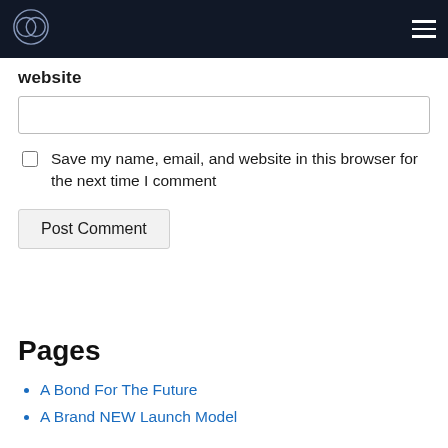Navigation bar with logo and hamburger menu
website
Save my name, email, and website in this browser for the next time I comment
Post Comment
Pages
A Bond For The Future
A Brand NEW Launch Model